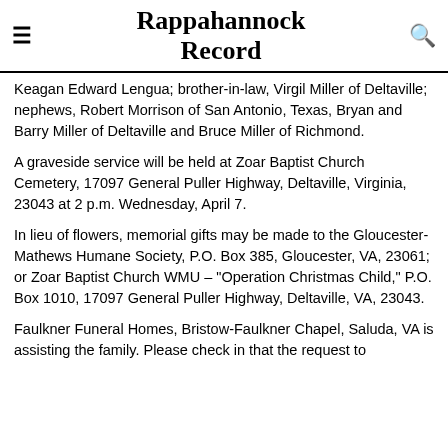Rappahannock Record
Keagan Edward Lengua; brother-in-law, Virgil Miller of Deltaville; nephews, Robert Morrison of San Antonio, Texas, Bryan and Barry Miller of Deltaville and Bruce Miller of Richmond.
A graveside service will be held at Zoar Baptist Church Cemetery, 17097 General Puller Highway, Deltaville, Virginia, 23043 at 2 p.m. Wednesday, April 7.
In lieu of flowers, memorial gifts may be made to the Gloucester-Mathews Humane Society, P.O. Box 385, Gloucester, VA, 23061; or Zoar Baptist Church WMU – "Operation Christmas Child," P.O. Box 1010, 17097 General Puller Highway, Deltaville, VA, 23043.
Faulkner Funeral Homes, Bristow-Faulkner Chapel, Saluda, VA is assisting the family. Please check in that the request to...